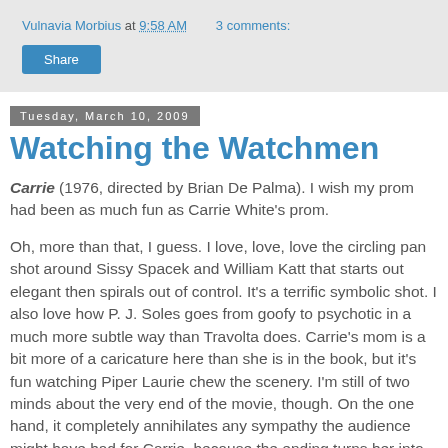Vulnavia Morbius at 9:58 AM   3 comments:
Share
Tuesday, March 10, 2009
Watching the Watchmen
Carrie (1976, directed by Brian De Palma). I wish my prom had been as much fun as Carrie White's prom.
Oh, more than that, I guess. I love, love, love the circling pan shot around Sissy Spacek and William Katt that starts out elegant then spirals out of control. It's a terrific symbolic shot. I also love how P. J. Soles goes from goofy to psychotic in a much more subtle way than Travolta does. Carrie's mom is a bit more of a caricature here than she is in the book, but it's fun watching Piper Laurie chew the scenery. I'm still of two minds about the very end of the movie, though. On the one hand, it completely annihilates any sympathy the audience might have had for Carrie, because the ending turns her into